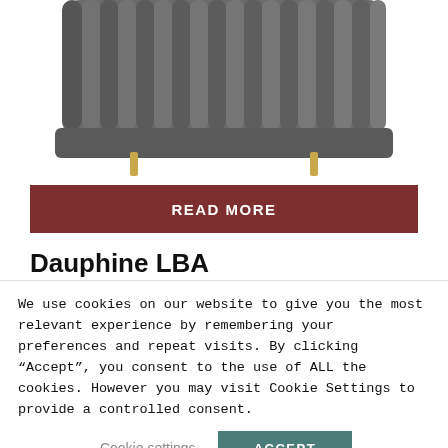[Figure (photo): Top portion of a dark grey tufted velvet sofa/loveseat with gold metallic legs, photographed from above on white background]
READ MORE
Dauphine LBA
We use cookies on our website to give you the most relevant experience by remembering your preferences and repeat visits. By clicking “Accept”, you consent to the use of ALL the cookies. However you may visit Cookie Settings to provide a controlled consent.
Cookie settings
ACCEPT